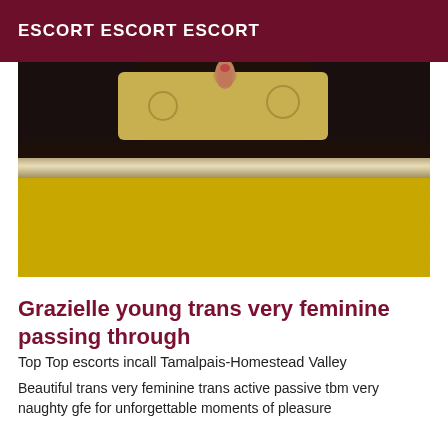ESCORT ESCORT ESCORT
[Figure (photo): A photograph showing hands holding a fabric or paper item, with a mirror frame dividing the image and a bright yellow/mustard colored surface below.]
Grazielle young trans very feminine passing through
Top Top escorts incall Tamalpais-Homestead Valley
Beautiful trans very feminine trans active passive tbm very naughty gfe for unforgettable moments of pleasure